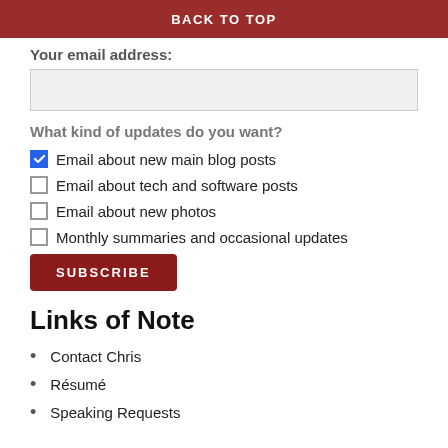BACK TO TOP
Your email address:
What kind of updates do you want?
Email about new main blog posts
Email about tech and software posts
Email about new photos
Monthly summaries and occasional updates
SUBSCRIBE
Links of Note
Contact Chris
Résumé
Speaking Requests